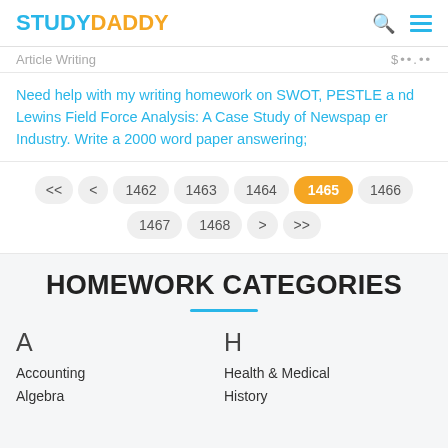STUDYDADDY
Article Writing  $••.••
Need help with my writing homework on SWOT, PESTLE and Lewins Field Force Analysis: A Case Study of Newspaper Industry. Write a 2000 word paper answering;
<< < 1462 1463 1464 1465 1466 1467 1468 > >>
HOMEWORK CATEGORIES
A
Accounting
Algebra
H
Health & Medical
History